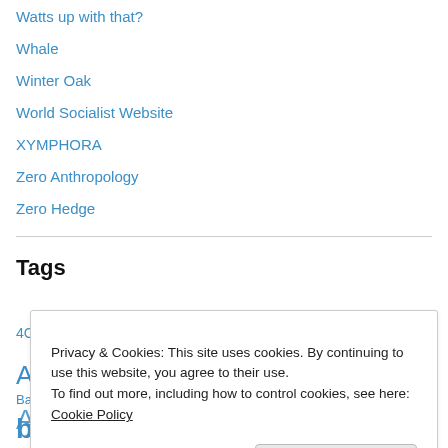Watts up with that?
Whale
Winter Oak
World Socialist Website
XYMPHORA
Zero Anthropology
Zero Hedge
Tags
4Cs 9/11 Addiction advertising Afghanistan Africa
Al Qaeda (partial, obscured by overlay)
Privacy & Cookies: This site uses cookies. By continuing to use this website, you agree to their use. To find out more, including how to control cookies, see here: Cookie Policy
Close and accept
Babylonian Talmud banking Barack Obama Being Belgium belief